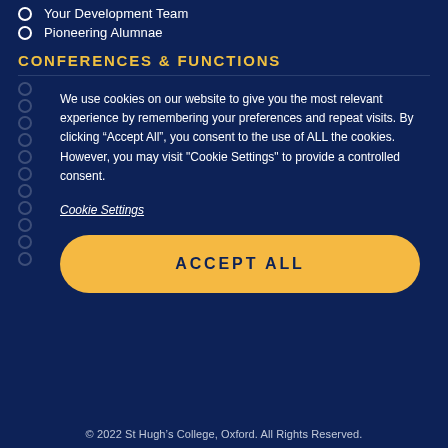Your Development Team
Pioneering Alumnae
CONFERENCES & FUNCTIONS
We use cookies on our website to give you the most relevant experience by remembering your preferences and repeat visits. By clicking “Accept All”, you consent to the use of ALL the cookies. However, you may visit "Cookie Settings" to provide a controlled consent.
Cookie Settings
ACCEPT ALL
© 2022 St Hugh’s College, Oxford. All Rights Reserved.